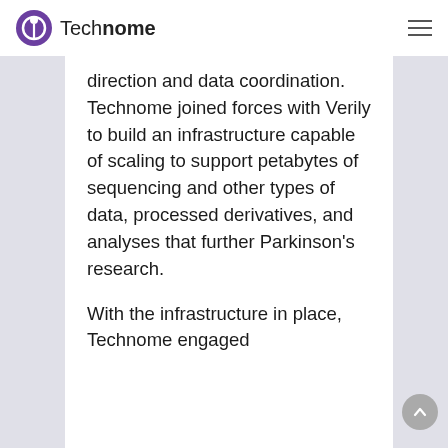Technome
direction and data coordination. Technome joined forces with Verily to build an infrastructure capable of scaling to support petabytes of sequencing and other types of data, processed derivatives, and analyses that further Parkinson’s research.
With the infrastructure in place, Technome engaged